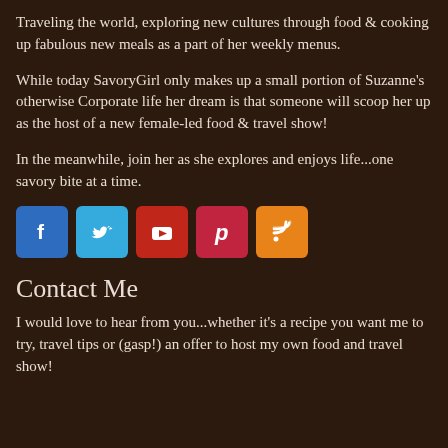Traveling the world, exploring new cultures through food & cooking up fabulous new meals as a part of her weekly menus.
While today SavoryGirl only makes up a small portion of Suzanne's otherwise Corporate life her dream is that someone will scoop her up as the host of a new female-led food & travel show!
In the meanwhile, join her as she explores and enjoys life...one savory bite at a time.
[Figure (infographic): Row of five social media icon buttons: Facebook (blue), Twitter (light blue), YouTube (red), Pinterest (red), RSS (orange)]
Contact Me
I would love to hear from you...whether it's a recipe you want me to try, travel tips or (gasp!) an offer to host my own food and travel show!